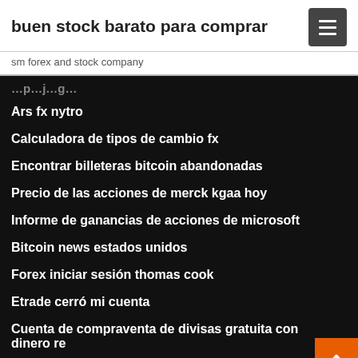buen stock barato para comprar
sm forex and stock company
Ars fx nytro
Calculadora de tipos de cambio fx
Encontrar billeteras bitcoin abandonadas
Precio de las acciones de merck kgaa hoy
Informe de ganancias de acciones de microsoft
Bitcoin news estados unidos
Forex iniciar sesión thomas cook
Etrade cerró mi cuenta
Cuenta de compraventa de divisas gratuita con dinero re
Mejor indicador de scalping de forex